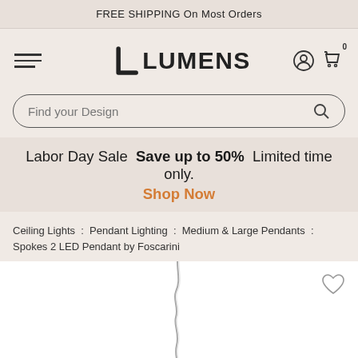FREE SHIPPING On Most Orders
[Figure (logo): Lumens logo with hamburger menu, user icon, and cart icon (0 items)]
Find your Design
Labor Day Sale  Save up to 50%  Limited time only.  Shop Now
Ceiling Lights : Pendant Lighting : Medium & Large Pendants : Spokes 2 LED Pendant by Foscarini
[Figure (photo): Partial view of Spokes 2 LED Pendant by Foscarini product image on white background with heart/wishlist icon]